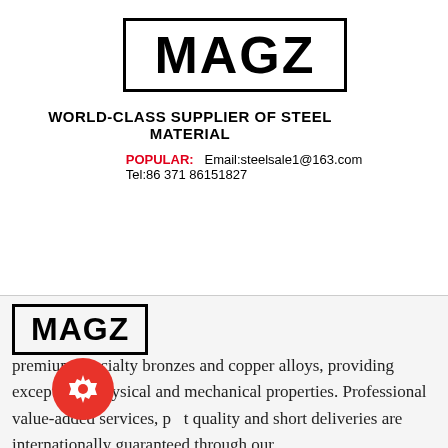[Figure (logo): MAGZ logo in bold black text inside a rectangular border]
[Figure (illustration): Three blue square icon buttons on the right sidebar: headset/customer support icon, phone icon, and Skype icon]
WORLD-CLASS SUPPLIER OF STEEL MATERIAL
POPULAR:  Email:steelsale1@163.com
Tel:86 371 86151827
[Figure (logo): MAGZ logo smaller version in bold black text inside a rectangular border]
premium specialty bronzes and copper alloys, providing exceptional physical and mechanical properties. Professional value-added services, p t quality and short deliveries are internationally guaranteed through our